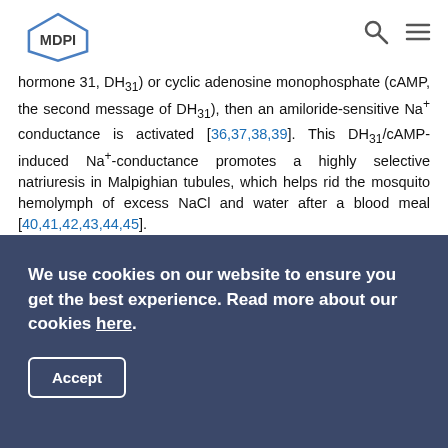MDPI
hormone 31, DH31) or cyclic adenosine monophosphate (cAMP, the second message of DH31), then an amiloride-sensitive Na+ conductance is activated [36,37,38,39]. This DH31/cAMP-induced Na+-conductance promotes a highly selective natriuresis in Malpighian tubules, which helps rid the mosquito hemolymph of excess NaCl and water after a blood meal [40,41,42,43,44,45].
To date, the molecular identities of the amiloride-insensitive and cAMP-stimulated Na+ conductances in the basolateral membranes of Malpighian tubules have not been determined. The functional and pharmacological properties of the aeCCC2 oocytes in the present study, which were characterized in the absence of cAMP, are consistent with the former Na+
We use cookies on our website to ensure you get the best experience. Read more about our cookies here.
Accept